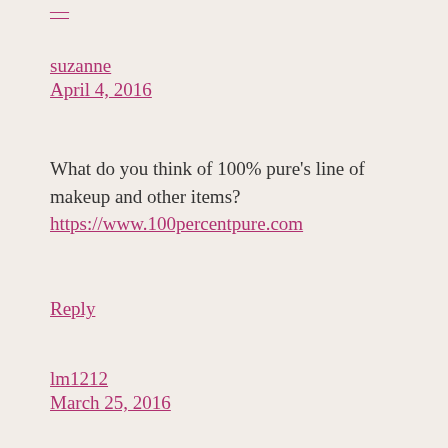suzanne
April 4, 2016
What do you think of 100% pure's line of makeup and other items? https://www.100percentpure.com
Reply
lm1212
March 25, 2016